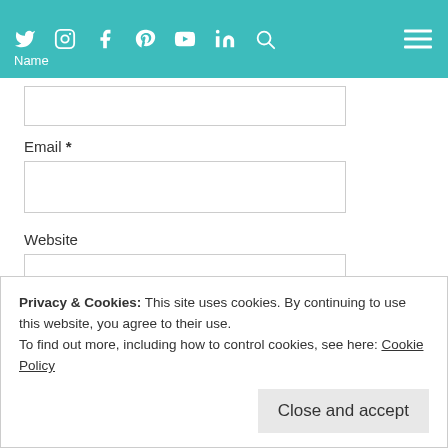Social media icons and navigation header
Name
Email *
Website
Notify me of follow-up comments by email.
Notify me of new posts by email.
Privacy & Cookies: This site uses cookies. By continuing to use this website, you agree to their use.
To find out more, including how to control cookies, see here: Cookie Policy
Close and accept